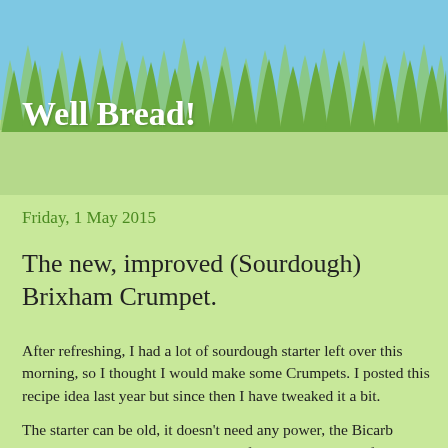[Figure (illustration): Blog header with grass silhouette against light blue sky background]
Well Bread!
Friday, 1 May 2015
The new, improved (Sourdough) Brixham Crumpet.
After refreshing, I had a lot of sourdough starter left over this morning, so I thought I would make some Crumpets. I posted this recipe idea last year but since then I have tweaked it a bit.
The starter can be old, it doesn't need any power, the Bicarb makes the mixture rise. So it's ideal for using discard before feeding. White or Spelt starter is best.
These pictures are for a White starter.